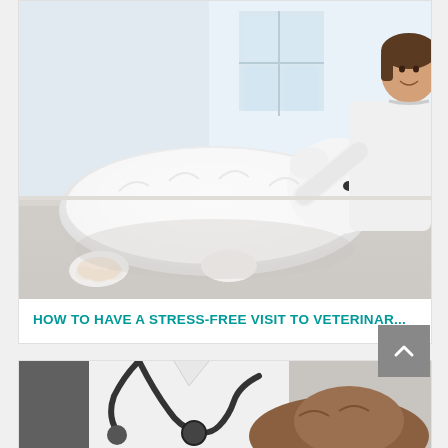[Figure (photo): Veterinarian examining a large white fluffy dog (Samoyed) lying on an examination table in a bright clinic setting. Female vet in white coat with stethoscope smiling at the dog.]
HOW TO HAVE A STRESS-FREE VISIT TO VETERINAR...
[Figure (photo): Close-up of a veterinarian in white coat with stethoscope examining a brown dog, partially cropped at the bottom of the page.]